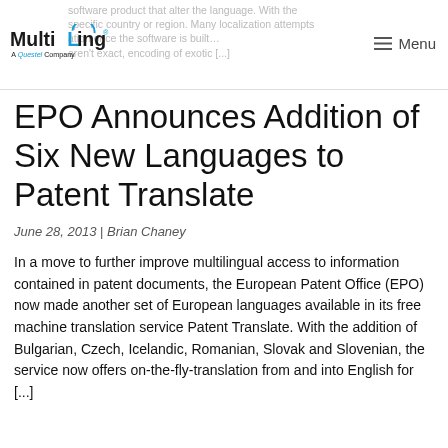MultiLing – A Questel Company | Menu
EPO Announces Addition of Six New Languages to Patent Translate
June 28, 2013 | Brian Chaney
In a move to further improve multilingual access to information contained in patent documents, the European Patent Office (EPO) now made another set of European languages available in its free machine translation service Patent Translate. With the addition of Bulgarian, Czech, Icelandic, Romanian, Slovak and Slovenian, the service now offers on-the-fly-translation from and into English for [...]